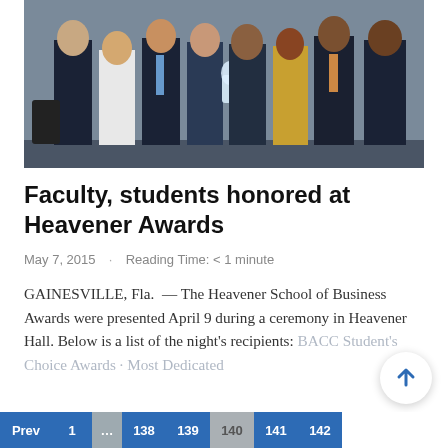[Figure (photo): Group photo of faculty and students in formal attire at the Heavener Awards ceremony; one person holds a glass trophy award.]
Faculty, students honored at Heavener Awards
May 7, 2015  ·  Reading Time: < 1 minute
GAINESVILLE, Fla. — The Heavener School of Business Awards were presented April 9 during a ceremony in Heavener Hall. Below is a list of the night's recipients: BACC Student's Choice Awards · Most Dedicated
Prev  1  …  138  139  140  141  142